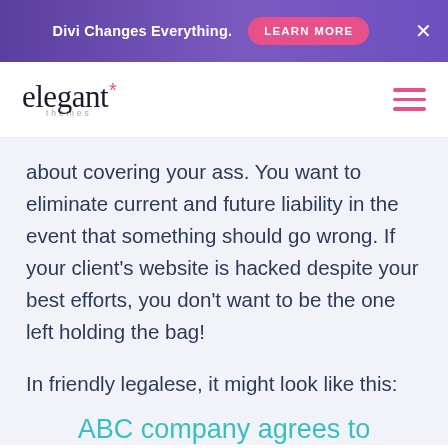Divi Changes Everything. LEARN MORE ×
[Figure (logo): Elegant Themes logo with asterisk star and 'themes' subtext, plus hamburger menu icon]
about covering your ass. You want to eliminate current and future liability in the event that something should go wrong. If your client's website is hacked despite your best efforts, you don't want to be the one left holding the bag!
In friendly legalese, it might look like this:
ABC company agrees to